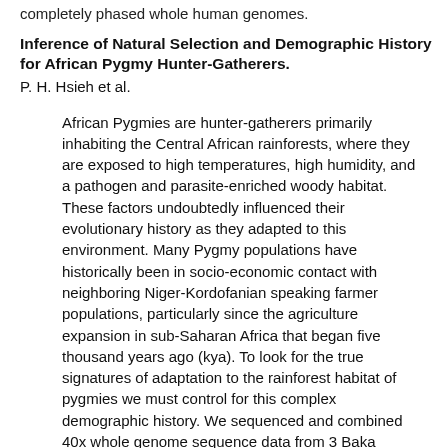completely phased whole human genomes.
Inference of Natural Selection and Demographic History for African Pygmy Hunter-Gatherers.
P. H. Hsieh et al.
African Pygmies are hunter-gatherers primarily inhabiting the Central African rainforests, where they are exposed to high temperatures, high humidity, and a pathogen and parasite-enriched woody habitat. These factors undoubtedly influenced their evolutionary history as they adapted to this environment. Many Pygmy populations have historically been in socio-economic contact with neighboring Niger-Kordofanian speaking farmer populations, particularly since the agriculture expansion in sub-Saharan Africa that began five thousand years ago (kya). To look for the true signatures of adaptation to the rainforest habitat of pygmies we must control for this complex demographic history. We sequenced and combined 40x whole genome sequence data from 3 Baka pygmies